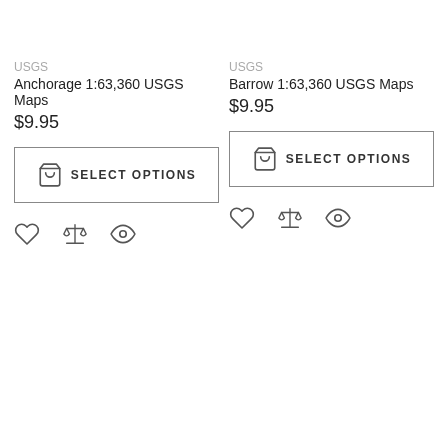USGS
Anchorage 1:63,360 USGS Maps
$9.95
SELECT OPTIONS
USGS
Barrow 1:63,360 USGS Maps
$9.95
SELECT OPTIONS